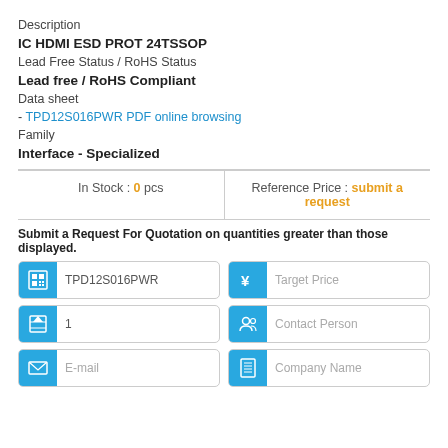Description
IC HDMI ESD PROT 24TSSOP
Lead Free Status / RoHS Status
Lead free / RoHS Compliant
Data sheet
- TPD12S016PWR PDF online browsing
Family
Interface - Specialized
| In Stock | Reference Price |
| --- | --- |
| 0 pcs | submit a request |
Submit a Request For Quotation on quantities greater than those displayed.
[Figure (infographic): Form fields for quotation request: Part number (TPD12S016PWR), quantity (1), email, target price, contact person, company name, each with blue icon buttons.]